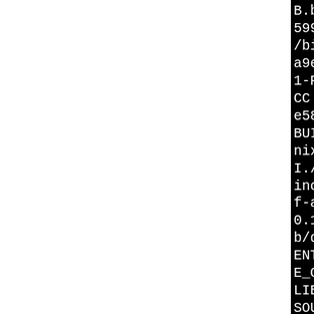B.befe5894-a7cf-41af-a9e4-d105d329599d/BUILD/bind-9.10.1-P2/libtool --mode=compile CC i486-pld-linux-gcc -I/tmp/B.befe5894-a7cf-41af-a9e4-d105d329599d/BUILD/bind-9.10.1-P2 -I../nix/include -I./pthreads/ -I./x86_32/include -I./include -I/tmp/B.befe5894-a7cf-41af-a9e4-d105d329599d/BUILD/bind-9.10.1-P2/lib/dns/include -I/tmp/B.befe5894-a7cf-41af-a9e4-d105d329599d/BUILD/bind-9.10.1-P2/lib/dns/include -I/usr/include -DUSE_REENTRANT -D_LARGEFILE_SOURCE -D_FILE_OFFSET_BITS=64 -DOPENSSL_FIPS -DDNS_LIB_LOCATION="undefined" -D_REENTRANT -D_GNU_SOURCE=1 -I/usr/include -I/usr/include/libxml2 -I/usr/include/json-c -W -Wall -Wmissing-prototypes -Wcast-qual -Wno-missing-strings -Wformat -Wpointer-arith -fno-no-strict-aliasing -fno-delete-null-pointer-checks -c mutexl